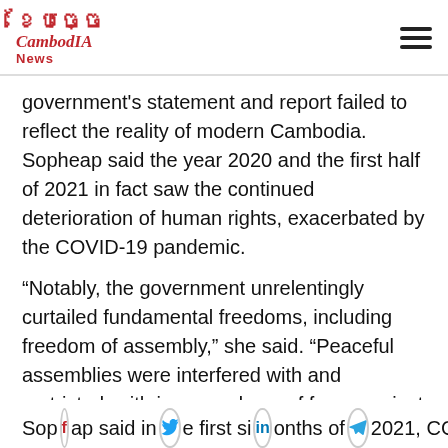CambodIA News
government's statement and report failed to reflect the reality of modern Cambodia. Sopheap said the year 2020 and the first half of 2021 in fact saw the continued deterioration of human rights, exacerbated by the COVID-19 pandemic.
“Notably, the government unrelentingly curtailed fundamental freedoms, including freedom of assembly,” she said. “Peaceful assemblies were interfered with and restricted, with increased use of force against peaceful protestors by authorities.”
Sopheap said in the first six months of 2021, CCH